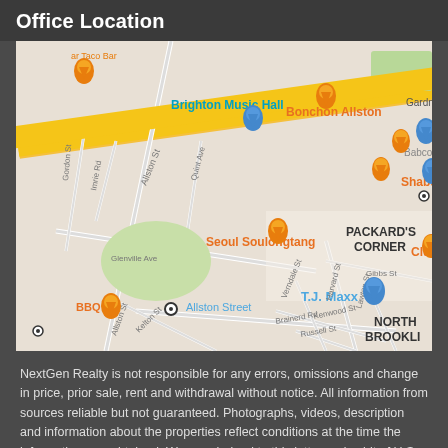Office Location
[Figure (map): Google Maps view of Allston/Brighton area in Boston showing streets including Allston St, Brainerd Rd, Glenville Ave, Harvard St, Kenwood St, Lawton St, Gibbs St; landmarks including Brighton Music Hall, Bonchon Allston, Seoul Soulongtang, Shabu-Zen, T.J. Maxx, Packard's Corner, North Brookline; map pins for restaurants (orange) and stores (blue)]
NextGen Realty is not responsible for any errors, omissions and change in price, prior sale, rent and withdrawal without notice. All information from sources reliable but not guaranteed. Photographs, videos, description and information about the properties reflect conditions at the time the information was obtained. We are pledged to this letter and spirit of U.S. policy for the achievement of equal housing opportunity throughout the